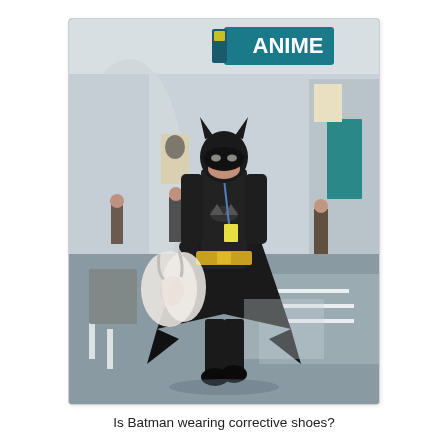[Figure (photo): A person dressed in a full Batman costume including black cape, bat-ears mask, yellow utility belt, and carrying plastic shopping bags, walking through what appears to be a convention center hallway. In the background is a blue banner reading 'ANIME', and other people are visible in the corridor.]
Is Batman wearing corrective shoes?